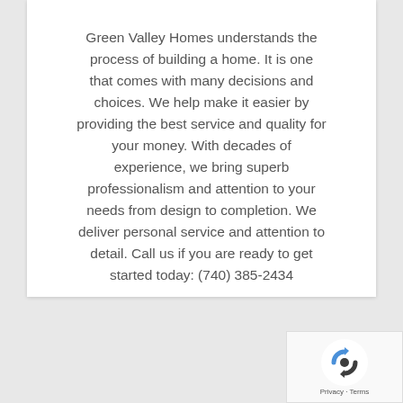Green Valley Homes understands the process of building a home. It is one that comes with many decisions and choices. We help make it easier by providing the best service and quality for your money. With decades of experience, we bring superb professionalism and attention to your needs from design to completion. We deliver personal service and attention to detail. Call us if you are ready to get started today: (740) 385-2434
[Figure (logo): reCAPTCHA logo with Privacy and Terms links]